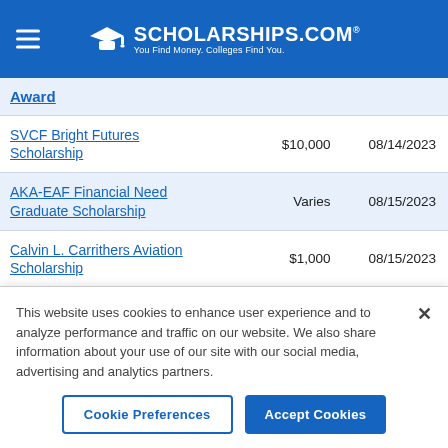[Figure (logo): Scholarships.com logo with graduation cap icon, tagline: You Find Money. Colleges Find You.]
| Award |  |  |
| --- | --- | --- |
| SVCF Bright Futures Scholarship | $10,000 | 08/14/2023 |
| AKA-EAF Financial Need Graduate Scholarship | Varies | 08/15/2023 |
| Calvin L. Carrithers Aviation Scholarship | $1,000 | 08/15/2023 |
| CWGCS Fellowship on | $10,000 | 08/15/2023 |
This website uses cookies to enhance user experience and to analyze performance and traffic on our website. We also share information about your use of our site with our social media, advertising and analytics partners.